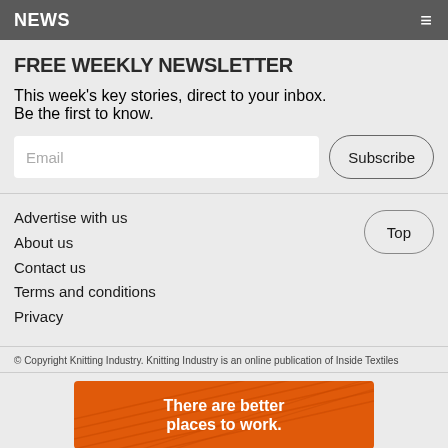NEWS
FREE WEEKLY NEWSLETTER
This week's key stories, direct to your inbox. Be the first to know.
Email  Subscribe
Advertise with us
About us
Contact us
Terms and conditions
Privacy
© Copyright Knitting Industry. Knitting Industry is an online publication of Inside Textiles
[Figure (illustration): Orange advertisement banner with diagonal line texture and bold white text reading 'There are better places to work.']